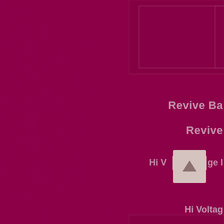[Figure (illustration): Dark magenta/crimson background with decorative swirl and floral pattern overlay (semi-transparent). Contains UI card elements with rectangular image placeholders, and partially visible text labels including 'Revive Ba', 'Revive', 'Hi Voltage' and a scroll-up button widget.]
Revive Ba
Revive
Hi Voltage
Hi Voltag